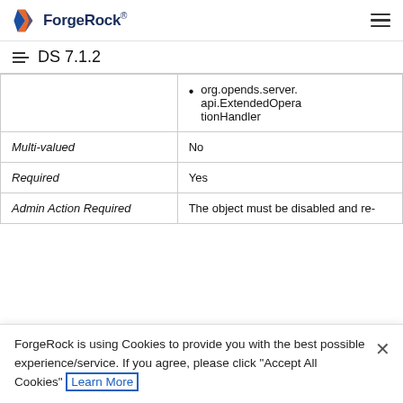ForgeRock® DS 7.1.2
| Property | Value |
| --- | --- |
|  | org.opends.server.api.ExtendedOperationHandler |
| Multi-valued | No |
| Required | Yes |
| Admin Action Required | The object must be disabled and re-... |
ForgeRock is using Cookies to provide you with the best possible experience/service. If you agree, please click "Accept All Cookies" Learn More